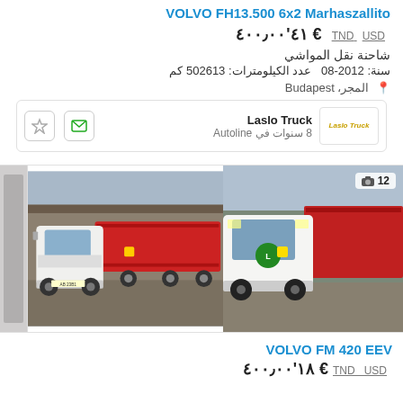VOLVO FH13.500 6x2 Marhaszallito
€ ٤١'٤٠٠٫٠٠  USD  TND
شاحنة نقل المواشي
سنة: 2012-08  عدد الكيلومترات: 502613 كم
المجر، Budapest
Laslo Truck  8 سنوات في Autoline
[Figure (photo): Volvo truck with livestock carrier trailer, front-side view, white cab, red frame, parked in yard with warehouse in background]
[Figure (photo): Volvo truck with car/livestock transport trailer, front-side view, white cab, red frame, outdoor setting, photo count badge showing 12]
VOLVO FM 420 EEV
€ ١٨'٤٠٠٫٠٠  USD  TND